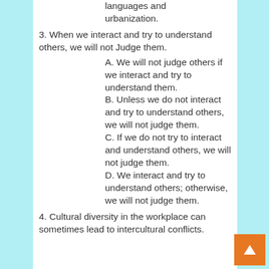languages and urbanization.
3. When we interact and try to understand others, we will not Judge them.
A. We will not judge others if we interact and try to understand them.
B. Unless we do not interact and try to understand others, we will not judge them.
C. If we do not try to interact and understand others, we will not judge them.
D. We interact and try to understand others; otherwise, we will not judge them.
4. Cultural diversity in the workplace can sometimes lead to intercultural conflicts.